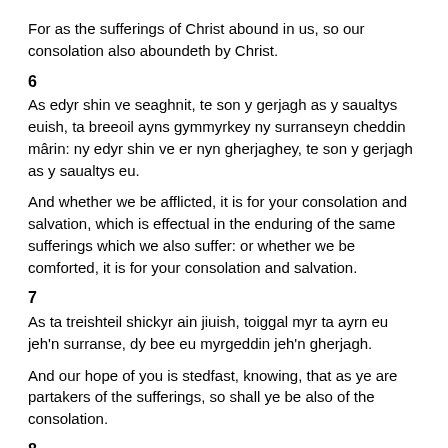For as the sufferings of Christ abound in us, so our consolation also aboundeth by Christ.
6
As edyr shin ve seaghnit, te son y gerjagh as y saualtys euish, ta breeoil ayns gymmyrkey ny surranseyn cheddin m&acirc;rin: ny edyr shin ve er nyn gherjaghey, te son y gerjagh as y saualtys eu.
And whether we be afflicted, it is for your consolation and salvation, which is effectual in the enduring of the same sufferings which we also suffer: or whether we be comforted, it is for your consolation and salvation.
7
As ta treishteil shickyr ain jiuish, toiggal myr ta ayrn eu jeh'n surranse, dy bee eu myrgeddin jeh'n gherjagh.
And our hope of you is stedfast, knowing, that as ye are partakers of the sufferings, so shall ye be also of the consolation.
8
Son cha baill lhien, vraaraghyn, dy beagh eh gyn-yss diu cre'n seaghyn haink orrin ayns Asia, dy row shin laadit ass towse erskyn nyn niart,